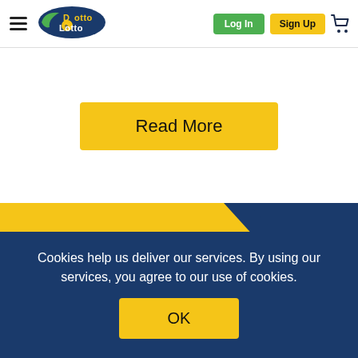DottoLotto — Log In | Sign Up | Cart
[Figure (screenshot): White content card area with a yellow 'Read More' button centered in it]
[Figure (illustration): Diagonal yellow and dark blue geometric background section with a small pink accent and a dark horizontal dash/line indicator]
Cookies help us deliver our services. By using our services, you agree to our use of cookies.
OK